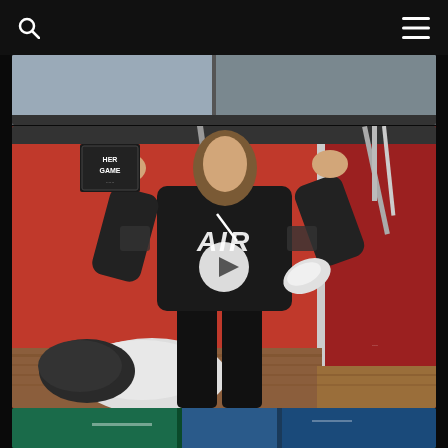[Figure (screenshot): Website screenshot with black navigation bar at top with search icon on left and hamburger menu icon on right. Below is a partial image strip showing a gym/sports environment. Main photo shows a person wearing a black sweatshirt with 'AIR' text and holding a 'HER GAME' jersey in a red-walled gym setting, with bean bags on a wooden floor, and a play button overlay in center. Bottom edge shows a peek of another image with teal/blue tones.]